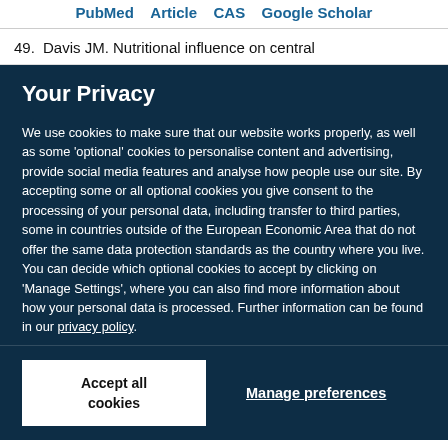PubMed  Article  CAS  Google Scholar
49.  Davis JM. Nutritional influence on central
Your Privacy
We use cookies to make sure that our website works properly, as well as some 'optional' cookies to personalise content and advertising, provide social media features and analyse how people use our site. By accepting some or all optional cookies you give consent to the processing of your personal data, including transfer to third parties, some in countries outside of the European Economic Area that do not offer the same data protection standards as the country where you live. You can decide which optional cookies to accept by clicking on 'Manage Settings', where you can also find more information about how your personal data is processed. Further information can be found in our privacy policy.
Accept all cookies
Manage preferences